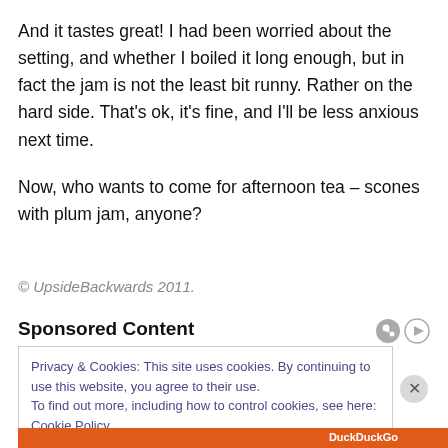And it tastes great!  I had been worried about the setting, and whether I boiled it long enough, but in fact the jam is not the least bit runny.  Rather on the hard side.  That's ok, it's fine, and I'll be less anxious next time.
Now, who wants to come for afternoon tea – scones with plum jam, anyone?
© UpsideBackwards 2011.
Sponsored Content
Privacy & Cookies: This site uses cookies. By continuing to use this website, you agree to their use.
To find out more, including how to control cookies, see here: Cookie Policy